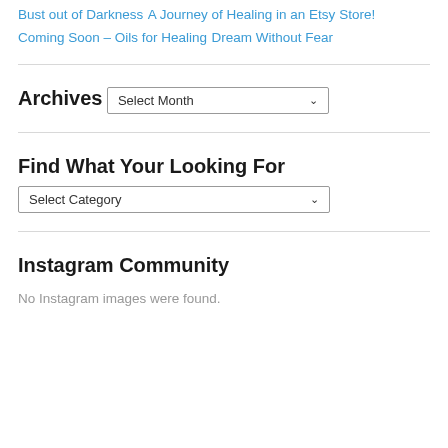Bust out of Darkness
A Journey of Healing in an Etsy Store!
Coming Soon – Oils for Healing
Dream Without Fear
Archives
Select Month
Find What Your Looking For
Select Category
Instagram Community
No Instagram images were found.